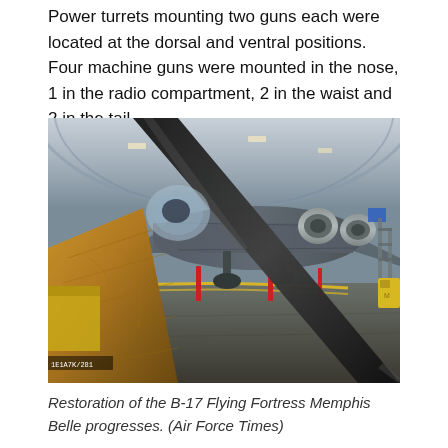Power turrets mounting two guns each were located at the dorsal and ventral positions. Four machine guns were mounted in the nose, 1 in the radio compartment, 2 in the waist and 2 in the tail.
[Figure (photo): Interior hangar photograph showing the B-17 Flying Fortress Memphis Belle aircraft during restoration, with a large wooden propeller blade in the foreground and the aircraft fuselage and engines visible in the background. Yellow caution tape and equipment visible. A yellow vehicle is on the right.]
Restoration of the B-17 Flying Fortress Memphis Belle progresses. (Air Force Times)